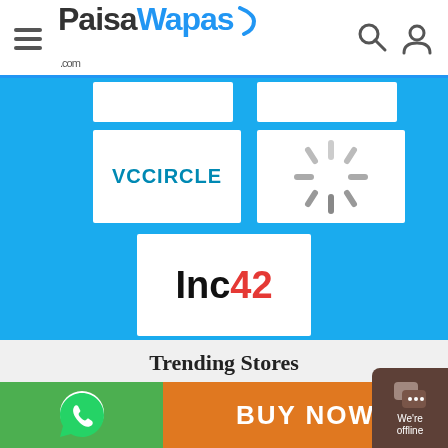PaisaWapas.com
[Figure (logo): VCCircle logo - white box with teal/blue VCCIRCLE text]
[Figure (logo): Loading spinner icon - gray radiating lines]
[Figure (logo): Inc42 logo - black Inc and red 42 on white background]
Trending Stores
[Figure (logo): Amazon.in logo]
[Figure (logo): Flipkart logo]
[Figure (logo): Myntra logo]
[Figure (logo): AJIO logo]
[Figure (logo): Tata CLiQ logo]
[Figure (logo): Loading spinner - gray radiating lines (partially visible)]
[Figure (logo): WhatsApp icon on green background]
BUY NOW
We're offline